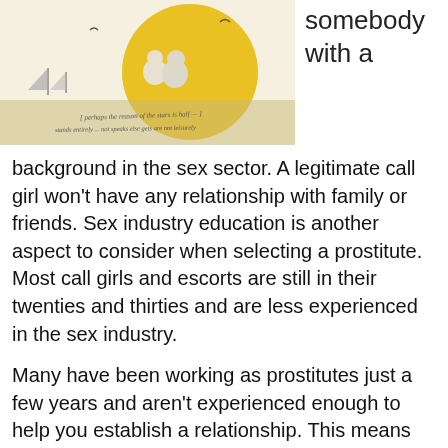[Figure (illustration): Illustration of two people sitting together watching a sunset over water with sailboats, with handwritten text at the bottom.]
somebody with a
background in the sex sector. A legitimate call girl won't have any relationship with family or friends. Sex industry education is another aspect to consider when selecting a prostitute. Most call girls and escorts are still in their twenties and thirties and are less experienced in the sex industry.
Many have been working as prostitutes just a few years and aren't experienced enough to help you establish a relationship. This means that you have to be ready to devote money and time establishing a connection. Many escorts and call girls will attempt to employ johns while waiting for clients to enter. This